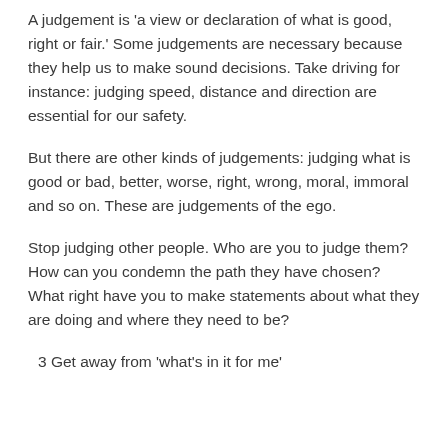A judgement is 'a view or declaration of what is good, right or fair.' Some judgements are necessary because they help us to make sound decisions. Take driving for instance: judging speed, distance and direction are essential for our safety.
But there are other kinds of judgements: judging what is good or bad, better, worse, right, wrong, moral, immoral and so on. These are judgements of the ego.
Stop judging other people. Who are you to judge them? How can you condemn the path they have chosen? What right have you to make statements about what they are doing and where they need to be?
3  Get away from 'what's in it for me'